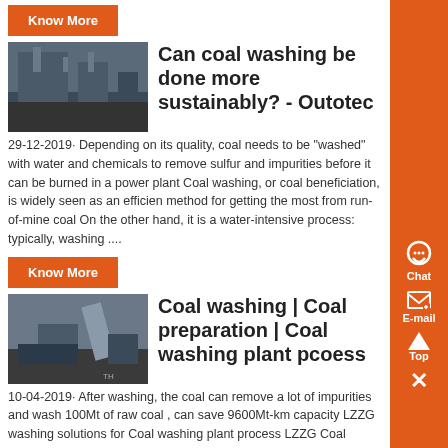Know More
[Figure (photo): Industrial coal washing facility photo]
Can coal washing be done more sustainably? - Outotec
29-12-2019· Depending on its quality, coal needs to be "washed" with water and chemicals to remove sulfur and impurities before it can be burned in a power plant Coal washing, or coal beneficiation, is widely seen as an efficient method for getting the most from run-of-mine coal On the other hand, it is a water-intensive process: typically, washing ....
Know More
[Figure (photo): Coal washing plant equipment photo]
Coal washing | Coal preparation | Coal washing plant pcoess
10-04-2019· After washing, the coal can remove a lot of impurities and wash 100Mt of raw coal , can save 9600Mt-km capacity LZZG washing solutions for Coal washing plant process LZZG Coal washing plants are mainly used to remove impurities ,...
Know More